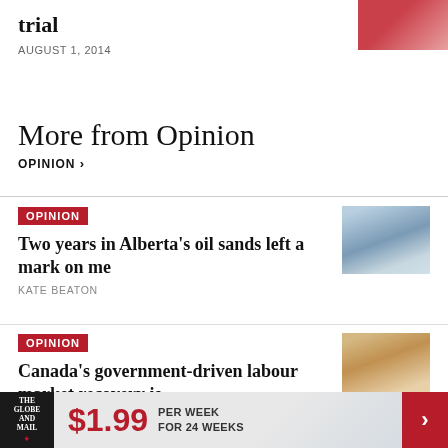trial
AUGUST 1, 2014
[Figure (photo): Portrait photo of a person in red]
More from Opinion
OPINION >
OPINION
Two years in Alberta's oil sands left a mark on me
[Figure (photo): Snow-covered landscape or trees, Alberta oil sands]
KATE BEATON
OPINION
Canada's government-driven labour market recovery is unsustainable
[Figure (photo): Interior of a shopping mall with escalators]
The Globe and Mail · $1.99 PER WEEK FOR 24 WEEKS